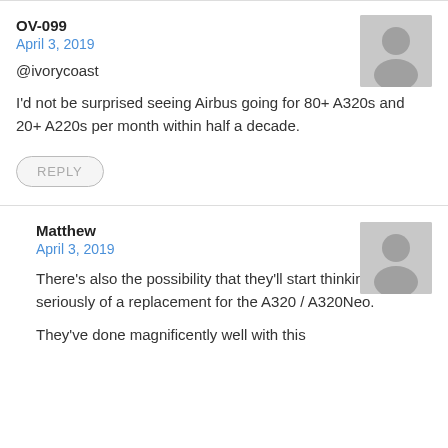OV-099
April 3, 2019
@ivorycoast
I'd not be surprised seeing Airbus going for 80+ A320s and 20+ A220s per month within half a decade.
REPLY
Matthew
April 3, 2019
There's also the possibility that they'll start thinking seriously of a replacement for the A320 / A320Neo.
They've done magnificently well with this